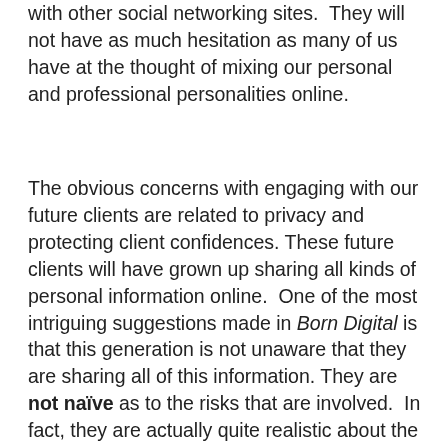with other social networking sites.  They will not have as much hesitation as many of us have at the thought of mixing our personal and professional personalities online.
The obvious concerns with engaging with our future clients are related to privacy and protecting client confidences.  These future clients will have grown up sharing all kinds of personal information online.  One of the most intriguing suggestions made in Born Digital is that this generation is not unaware that they are sharing all of this information.  They are not naïve as to the risks that are involved.  In fact, they are actually quite realistic about the fact that if they do not engage in these forms of communication, they are taking another type of risk  – one that isolates them from their peers socially and may leave them behind in terms of skills and networks necessary for building their careers.   Instead it is suggested that parents and educators place an